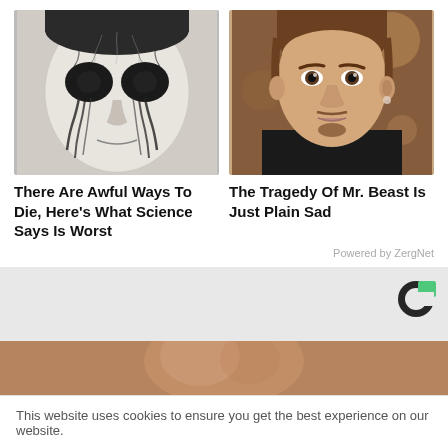[Figure (photo): Black and white photo of a person with dark cracked skin texture around the eyes and dark eyes, artistic horror-style portrait]
[Figure (photo): Color photo of a young man with brown hair and a small mustache/goatee, looking slightly to the side, appears to be MrBeast]
There Are Awful Ways To Die, Here's What Science Says Is Worst
The Tragedy Of Mr. Beast Is Just Plain Sad
Powered by ZergNet
[Figure (logo): Taboola or ad network logo — dark circular C shape with green accent]
[Figure (photo): Partial blurred photo at bottom, appears to show a person's face]
This website uses cookies to ensure you get the best experience on our website.
Got it!